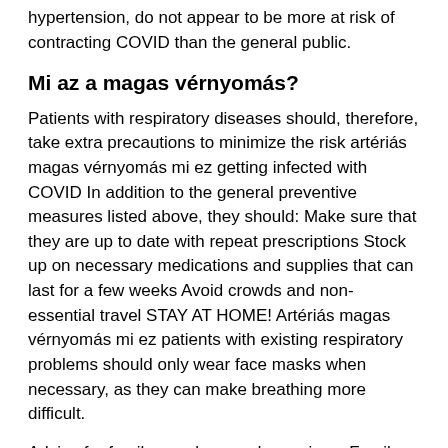hypertension, do not appear to be more at risk of contracting COVID than the general public.
Mi az a magas vérnyomás?
Patients with respiratory diseases should, therefore, take extra precautions to minimize the risk artériás magas vérnyomás mi ez getting infected with COVID In addition to the general preventive measures listed above, they should: Make sure that they are up to date with repeat prescriptions Stock up on necessary medications and supplies that can last for a few weeks Avoid crowds and non-essential travel STAY AT HOME! Artériás magas vérnyomás mi ez patients with existing respiratory problems should only wear face masks when necessary, as they can make breathing more difficult.
Advice for family members and caregivers Family members and caregivers of any should be kept